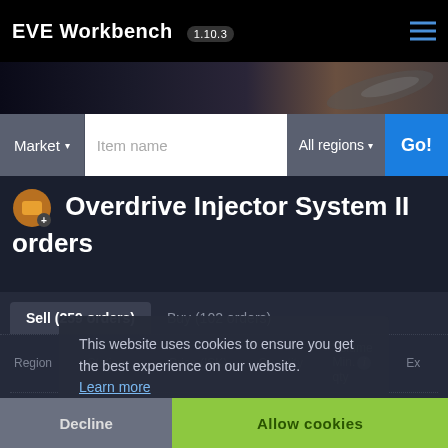EVE Workbench 1.10.3
[Figure (screenshot): EVE Online spaceship hero image strip]
Market ▾  Item name  All regions ▾  Go!
Overdrive Injector System II orders
Sell (259 orders)  Buy (102 orders)
This website uses cookies to ensure you get the best experience on our website. Learn more
| Region | Station | Price (ISK) | Quantity | Volume Min. qty | Ex |
| --- | --- | --- | --- | --- | --- |
Decline  Become our patron on  PATREON  Allow cookies